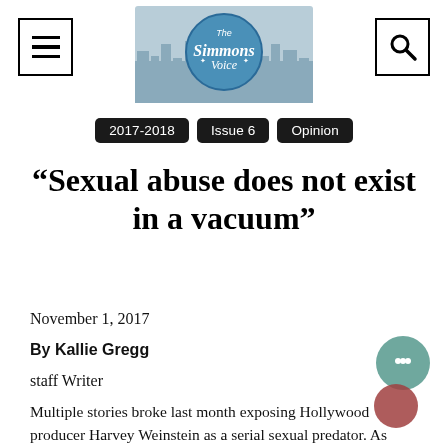[Figure (logo): The Simmons Voice newspaper logo with blue circle and city skyline background]
2017-2018  Issue 6  Opinion
“Sexual abuse does not exist in a vacuum”
November 1, 2017
By Kallie Gregg
staff Writer
Multiple stories broke last month exposing Hollywood producer Harvey Weinstein as a serial sexual predator. As more and more women spoke out against him, the